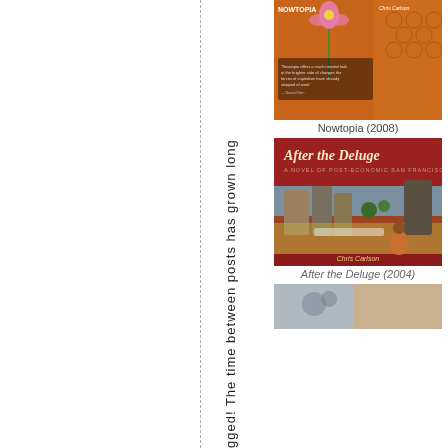gged! The time between posts has grown long
[Figure (photo): Book cover of Nowtopia (2008) - orange honeycomb/brick texture with flower]
Nowtopia (2008)
[Figure (photo): Book cover of After the Deluge (2004) - red cover with illustrated city scene, by Chris Carlson]
After the Deluge (2004)
[Figure (photo): Partial book cover at bottom]